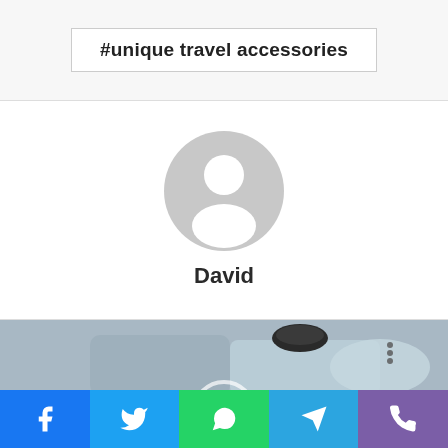#unique travel accessories
[Figure (illustration): Generic user avatar silhouette in grey circle]
David
[Figure (photo): Close-up photo of metallic travel accessory/gadget with black button on top]
[Figure (infographic): Social share bar with Facebook, Twitter, WhatsApp, Telegram, and Phone icons]